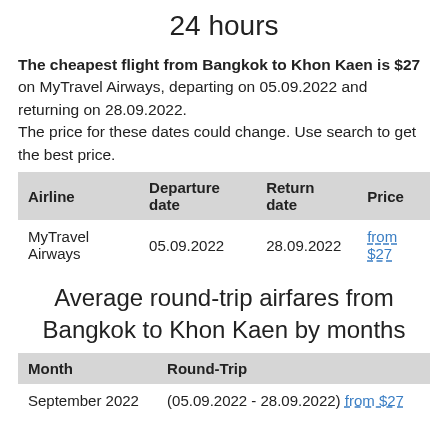24 hours
The cheapest flight from Bangkok to Khon Kaen is $27 on MyTravel Airways, departing on 05.09.2022 and returning on 28.09.2022.
The price for these dates could change. Use search to get the best price.
| Airline | Departure date | Return date | Price |
| --- | --- | --- | --- |
| MyTravel Airways | 05.09.2022 | 28.09.2022 | from $27 |
Average round-trip airfares from Bangkok to Khon Kaen by months
| Month | Round-Trip |
| --- | --- |
| September 2022 | (05.09.2022 - 28.09.2022) from $27 |